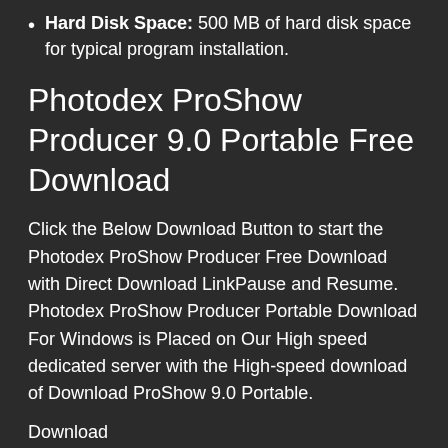Hard Disk Space: 500 MB of hard disk space for typical program installation.
Photodex ProShow Producer 9.0 Portable Free Download
Click the Below Download Button to start the Photodex ProShow Producer Free Download with Direct Download LinkPause and Resume. Photodex ProShow Producer Portable Download For Windows is Placed on Our High speed dedicated server with the High-speed download of Download ProShow 9.0 Portable.
Download
Источник: https://rahim-soft.com/photodex-proshow-producer-9-0-portable-free-download/